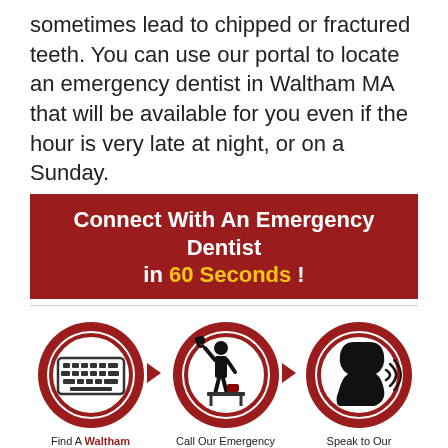sometimes lead to chipped or fractured teeth. You can use our portal to locate an emergency dentist in Waltham MA that will be available for you even if the hour is very late at night, or on a Sunday.
[Figure (infographic): Red banner reading 'Connect With An Emergency Dentist in 60 Seconds !' followed by three circular icons showing: keyboard (Find A Waltham Emergency Dentist Now!), person on phone (Call Our Emergency Dental Hotline), person speaking (Speak to Our 24/7 Operators!)]
Find A Waltham Emergency Dentist Now! | Call Our Emergency Dental Hotline | Speak to Our 24/7 Operators!